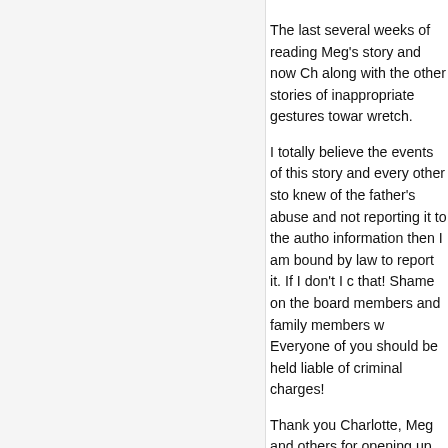The last several weeks of reading Meg's story and now Cha along with the other stories of inappropriate gestures towar wretch.
I totally believe the events of this story and every other stor knew of the father's abuse and not reporting it to the autho information then I am bound by law to report it. If I don't I ca that! Shame on the board members and family members w Everyone of you should be held liable of criminal charges!
Thank you Charlotte, Meg and others for opening up these RG for creating this forum for sharing this information to the true repentance, forgiveness and restoration from BG!
[Figure (illustration): Generic gray user avatar placeholder image showing silhouette of a person (head and shoulders)]
kevin February 5, 2014
"Shame on BG for doing that! Shame on sweep these matters under the rug! Ever
It is amazing how many enablers there h